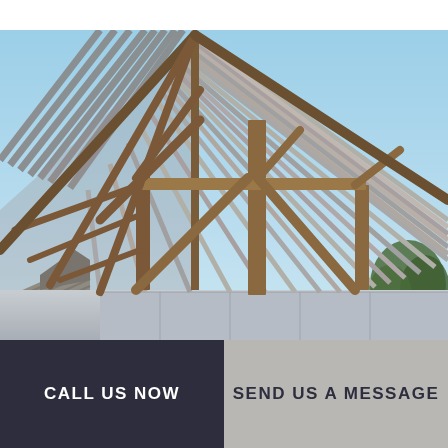[Figure (photo): Photograph of a building under construction showing exposed wooden roof framing/truss structure with rafters and battens against a blue sky, with a corrugated metal roof visible at the lower left and trees in the background.]
CALL US NOW
SEND US A MESSAGE